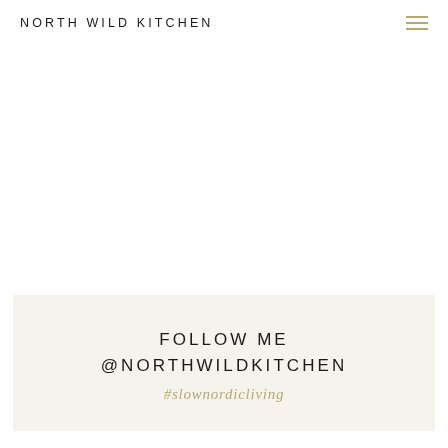NORTH WILD KITCHEN
FOLLOW ME @NORTHWILDKITCHEN
#slownordicliving